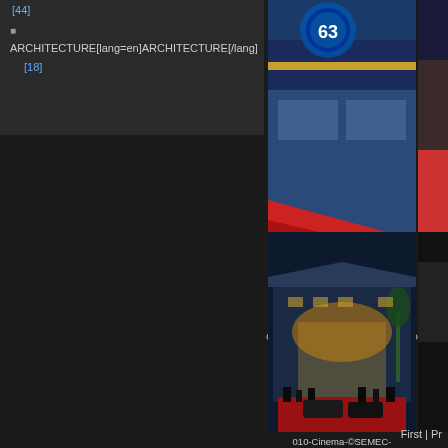[44]
ARCHITECTURE[lang=en]ARCHITECTURE[/lang] [18]
[Figure (photo): Cannes cinema building exterior with red carpet and blue decorative banners at dusk]
013-Cinema-©SEMEC-PERREARD
[Figure (photo): Partial view of another photo (cropped at right edge)]
[Figure (photo): Cannes Palais des Festivals exterior at night with red carpet and crowd]
010-Cinema-©SEMEC-PERREARD
[Figure (photo): Partial dark photo cropped at right edge]
First | Pr